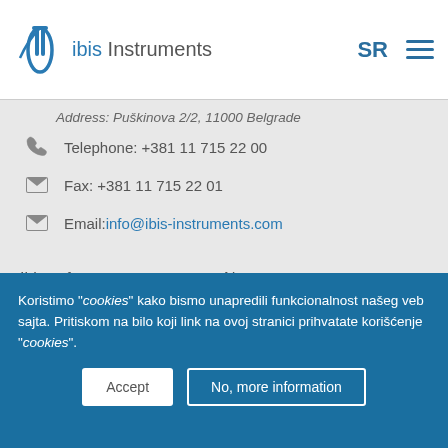Ibis Instruments — SR navigation menu
Address: Puškinova 2/2, 11000 Belgrade
Telephone: +381 11 715 22 00
Fax: +381 11 715 22 01
Email: info@ibis-instruments.com
Ibis software
Security
System integration
Measurement
Services and support
Career
News
Partners
About Us
Events
Blog
Contact
Koristimo "cookies" kako bismo unapredili funkcionalnost našeg veb sajta. Pritiskom na bilo koji link na ovoj stranici prihvatate korišćenje "cookies".